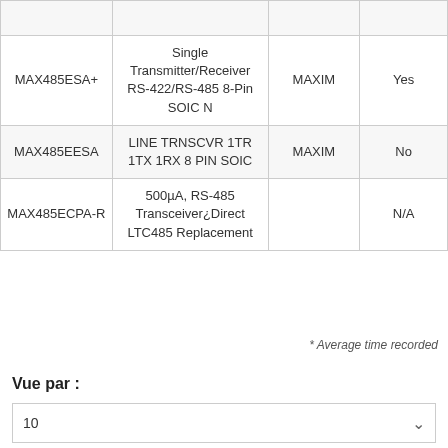| Part Number | Description | Manufacturer | In Stock |
| --- | --- | --- | --- |
| MAX485ESA+ | Single Transmitter/Receiver RS-422/RS-485 8-Pin SOIC N | MAXIM | Yes |
| MAX485EESA | LINE TRNSCVR 1TR 1TX 1RX 8 PIN SOIC | MAXIM | No |
| MAX485ECPA-R | 500µA, RS-485 Transceiver¿Direct LTC485 Replacement |  | N/A |
* Average time recorded
Vue par :
10